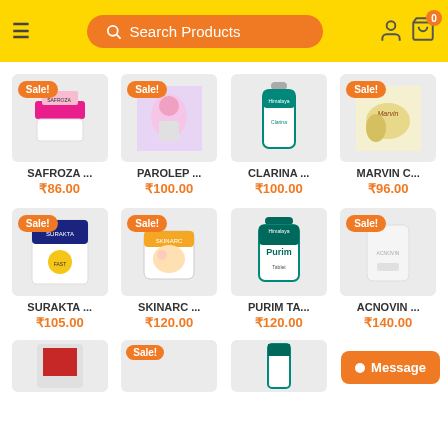Search Products
[Figure (screenshot): Product listing grid for a health/pharmacy e-commerce app showing 8 products with sale badges and prices]
SAFROZA... ₹86.00
PAROLEP... ₹100.00
CLARINA... ₹100.00
MARVIN C... ₹96.00
SURAKTA... ₹105.00
SKINARC... ₹120.00
PURIM TA... ₹120.00
ACNOVIN... ₹140.00